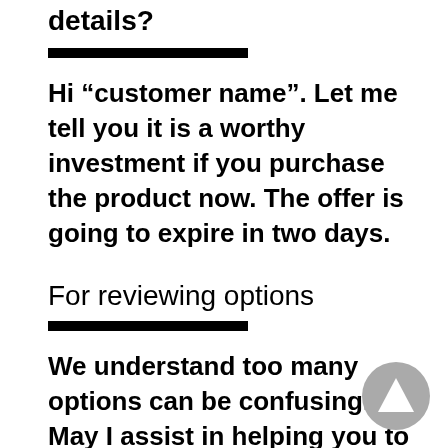details?
Hi “customer name”. Let me tell you it is a worthy investment if you purchase the product now. The offer is going to expire in two days.
For reviewing options
We understand too many options can be confusing. May I assist in helping you to decide?